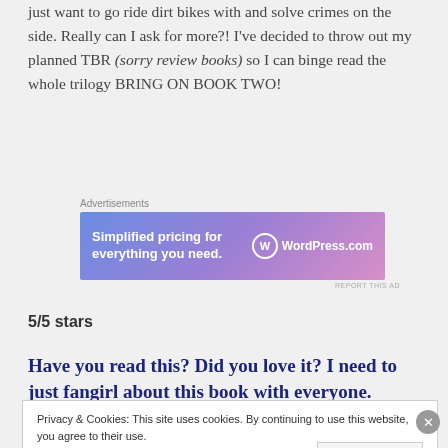just want to go ride dirt bikes with and solve crimes on the side. Really can I ask for more?! I've decided to throw out my planned TBR (sorry review books) so I can binge read the whole trilogy BRING ON BOOK TWO!
[Figure (screenshot): WordPress.com advertisement banner with gradient background (blue to pink) showing 'Simplified pricing for everything you need.' with WordPress.com logo]
5/5 stars
Have you read this? Did you love it? I need to just fangirl about this book with everyone.
Privacy & Cookies: This site uses cookies. By continuing to use this website, you agree to their use. To find out more, including how to control cookies, see here: Cookie Policy
Close and accept